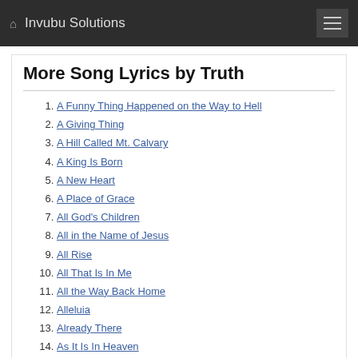Invubu Solutions
More Song Lyrics by Truth
A Funny Thing Happened on the Way to Hell
A Giving Thing
A Hill Called Mt. Calvary
A King Is Born
A New Heart
A Place of Grace
All God's Children
All in the Name of Jesus
All Rise
All That Is In Me
All the Way Back Home
Alleluia
Already There
As It Is In Heaven
Because He Lives
Because of Whose I Am